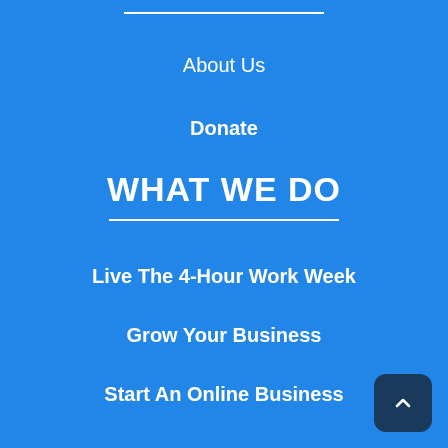About Us
Donate
WHAT WE DO
Live The 4-Hour Work Week
Grow Your Business
Start An Online Business